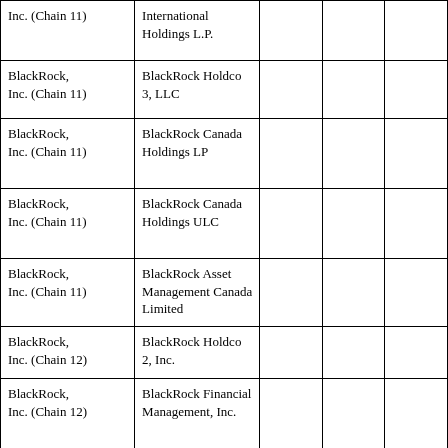| Inc. (Chain 11) | International Holdings L.P. |  |  |  |
| BlackRock, Inc. (Chain 11) | BlackRock Holdco 3, LLC |  |  |  |
| BlackRock, Inc. (Chain 11) | BlackRock Canada Holdings LP |  |  |  |
| BlackRock, Inc. (Chain 11) | BlackRock Canada Holdings ULC |  |  |  |
| BlackRock, Inc. (Chain 11) | BlackRock Asset Management Canada Limited |  |  |  |
| BlackRock, Inc. (Chain 12) | BlackRock Holdco 2, Inc. |  |  |  |
| BlackRock, Inc. (Chain 12) | BlackRock Financial Management, Inc. |  |  |  |
| BlackRock, | BlackRock Capital... |  |  |  |